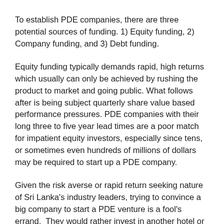To establish PDE companies, there are three potential sources of funding. 1) Equity funding, 2) Company funding, and 3) Debt funding.
Equity funding typically demands rapid, high returns which usually can only be achieved by rushing the product to market and going public. What follows after is being subject quarterly share value based performance pressures. PDE companies with their long three to five year lead times are a poor match for impatient equity investors, especially since tens, or sometimes even hundreds of millions of dollars may be required to start up a PDE company.
Given the risk averse or rapid return seeking nature of Sri Lanka's industry leaders, trying to convince a big company to start a PDE venture is a fool's errand.  They would rather invest in another hotel or casino not realising that a